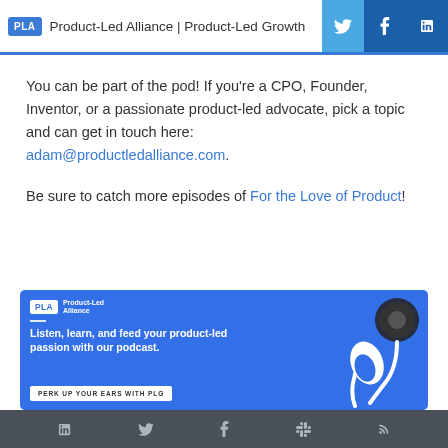PLA  Product-Led Alliance | Product-Led Growth
You can be part of the pod! If you're a CPO, Founder, Inventor, or a passionate product-led advocate, pick a topic and can get in touch here: adam@productledalliance.com.
Be sure to catch more episodes of For the Love of Product!
[Figure (infographic): Product-Led Alliance podcast banner with earbuds illustration. Text: Listen, learn, and feed your product-led passion with our podcast. Button: PERK UP YOUR EARS WITH PLG]
LinkedIn, Twitter, Facebook, Slack, RSS social icons